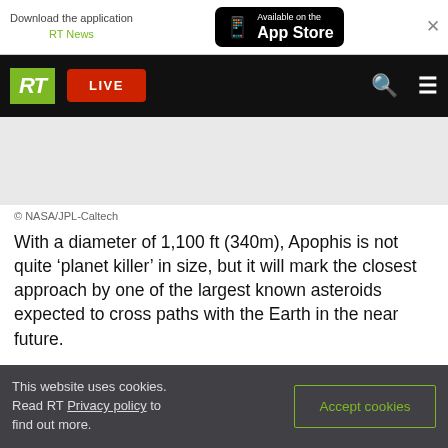Download the application RT News — Available on the App Store
[Figure (screenshot): RT news website navigation bar with RT logo, LIVE button, search and menu icons]
© NASA/JPL-Caltech
With a diameter of 1,100 ft (340m), Apophis is not quite 'planet killer' in size, but it will mark the closest approach by one of the largest known asteroids expected to cross paths with the Earth in the near future.
This website uses cookies. Read RT Privacy policy to find out more. Accept cookies